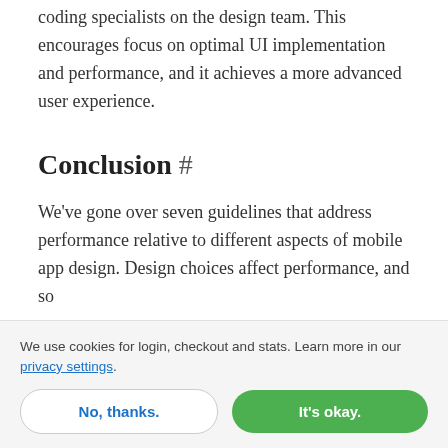coding specialists on the design team. This encourages focus on optimal UI implementation and performance, and it achieves a more advanced user experience.
Conclusion #
We've gone over seven guidelines that address performance relative to different aspects of mobile app design. Design choices affect performance, and so
We use cookies for login, checkout and stats. Learn more in our privacy settings.
No, thanks.
It's okay.